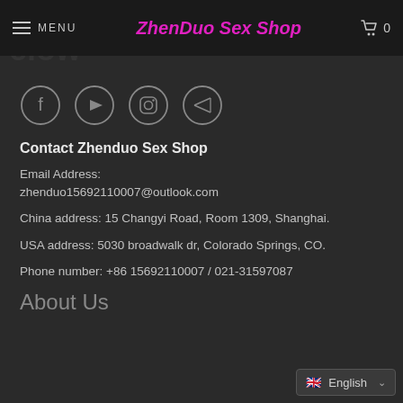MENU   ZhenDuo Sex Shop   🛒 0
[Figure (illustration): Four circular social media icons: Facebook (f), YouTube (play button), Instagram (camera), Telegram (paper plane). Gray circle outlines on dark background.]
Contact Zhenduo Sex Shop
Email Address:
zhenduo15692110007@outlook.com
China address: 15 Changyi Road, Room 1309, Shanghai.
USA address: 5030 broadwalk dr, Colorado Springs, CO.
Phone number: +86 15692110007 / 021-31597087
About Us
🇬🇧 English  ∨